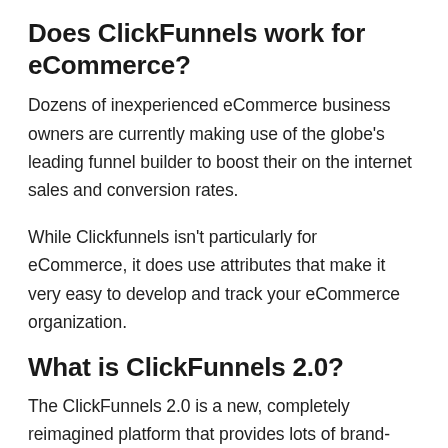Does ClickFunnels work for eCommerce?
Dozens of inexperienced eCommerce business owners are currently making use of the globe's leading funnel builder to boost their on the internet sales and conversion rates.
While Clickfunnels isn't particularly for eCommerce, it does use attributes that make it very easy to develop and track your eCommerce organization.
What is ClickFunnels 2.0?
The ClickFunnels 2.0 is a new, completely reimagined platform that provides lots of brand-new features and also improvements. It was revealed at Funnel